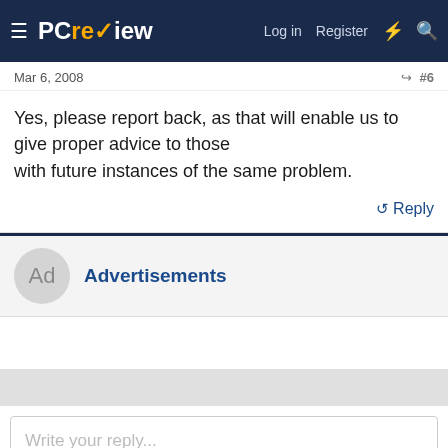PCreview | Log in | Register
Mar 6, 2008
Yes, please report back, as that will enable us to give proper advice to those with future instances of the same problem.
Reply
Advertisements
Write your reply...